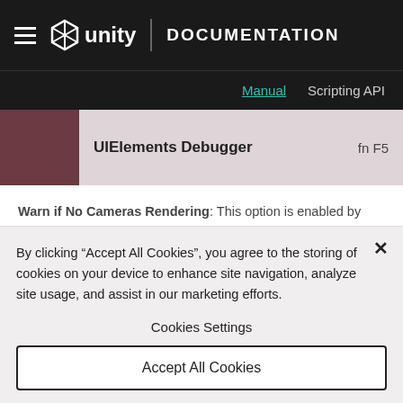≡ unity | DOCUMENTATION
Manual   Scripting API
[Figure (screenshot): Unity Editor screenshot showing UIElements Debugger menu item with shortcut fn F5]
Warn if No Cameras Rendering: This option is enabled by default: it causes Unity to display a warning if no Cameras are
By clicking "Accept All Cookies", you agree to the storing of cookies on your device to enhance site navigation, analyze site usage, and assist in our marketing efforts.
Cookies Settings
Accept All Cookies